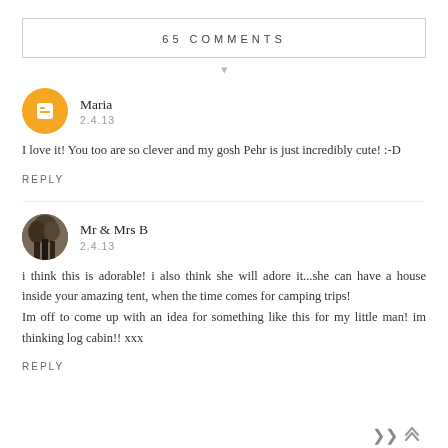65 COMMENTS
Maria
2.4.13
I love it! You too are so clever and my gosh Pehr is just incredibly cute! :-D
REPLY
Mr & Mrs B
2.4.13
i think this is adorable! i also think she will adore it...she can have a house inside your amazing tent, when the time comes for camping trips!
Im off to come up with an idea for something like this for my little man! im thinking log cabin!! xxx
REPLY